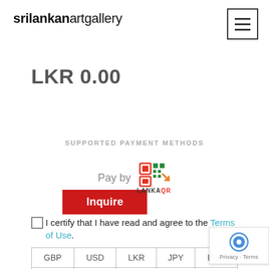srilankanartgallery
LKR 0.00
Inquire
SUPPORTED PAYMENT METHODS
[Figure (logo): Pay by LankaQR logo — stylized QR code icon in red/green/orange with text LANKAQR below]
I certify that I have read and agree to the Terms of Use.
| GBP | USD | LKR | JPY | EUR |
| --- | --- | --- | --- | --- |
|  |  |  |  |  |